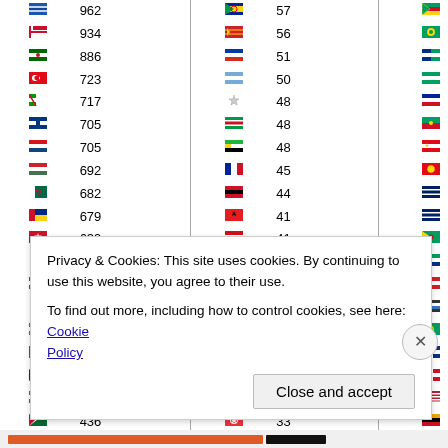| Flag | Count | Flag | Count | Flag | Count |
| --- | --- | --- | --- | --- | --- |
| 🇬🇷 | 962 | 🇧🇦 | 57 | 🇨🇲 | 7 |
| 🇩🇰 | 934 | 🇲🇰 | 56 | 🇳🇦 | 7 |
| 🇵🇹 | 886 | 🇰🇭 | 51 |  | 6 |
| 🇹🇷 | 723 | 🇺🇾 | 50 | 🇬🇲 | 6 |
| 🇦🇪 | 717 | 🇳🇵 | 48 |  | 6 |
| 🇫🇮 | 705 | 🇹🇲 | 48 |  | 6 |
| 🇨🇿 | 705 | 🇹🇿 | 48 |  | 6 |
| 🇭🇺 | 692 |  | 45 |  | 6 |
| 🇲🇽 | 682 |  | 44 | 🇦🇺 | 6 |
| 🇷🇴 | 679 | 🇦🇱 | 41 |  | 6 |
| 🇮🇲 | 639 | 🇧🇾 | 41 |  | 5 |
| ✕ | 588 | 🇲🇿 | 38 | 🇦🇺 | 5 |
|  | 584 | 🇮🇷 | 38 |  | 5 |
| 🇰🇷 | 569 |  | 36 |  | 5 |
| 🇦🇹 | 551 | 🇬🇪 | 35 | 🇸🇳 | 5 |
| 🇨🇳 | 541 | 🇧🇳 | 35 |  | 5 |
| 🇮🇱 | 535 | 🇰🇿 | 35 | 🇫🇮 | 4 |
| 🇨🇭 | 454 |  | 34 |  | 4 |
| 🇸🇦 | 436 |  | 33 |  | 4 |
|  | 404 |  | 30 |  | 3 |
| 🇵🇰 | 402 | 🇦🇿 | 29 |  | 3 |
Privacy & Cookies: This site uses cookies. By continuing to use this website, you agree to their use.
To find out more, including how to control cookies, see here: Cookie Policy